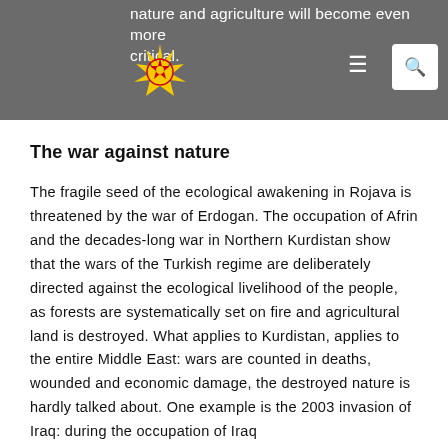nature and agriculture will become even more critical.
The war against nature
The fragile seed of the ecological awakening in Rojava is threatened by the war of Erdogan. The occupation of Afrin and the decades-long war in Northern Kurdistan show that the wars of the Turkish regime are deliberately directed against the ecological livelihood of the people, as forests are systematically set on fire and agricultural land is destroyed. What applies to Kurdistan, applies to the entire Middle East: wars are counted in deaths, wounded and economic damage, the destroyed nature is hardly talked about. One example is the 2003 invasion of Iraq: during the occupation of Iraq by the US military, hundreds of oil fields...